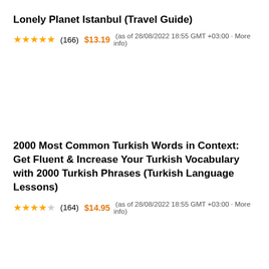Lonely Planet Istanbul (Travel Guide)
★★★★★ (166) $13.19 (as of 28/08/2022 18:55 GMT +03:00 · More info)
2000 Most Common Turkish Words in Context: Get Fluent & Increase Your Turkish Vocabulary with 2000 Turkish Phrases (Turkish Language Lessons)
★★★★☆ (164) $14.95 (as of 28/08/2022 18:55 GMT +03:00 · More info)